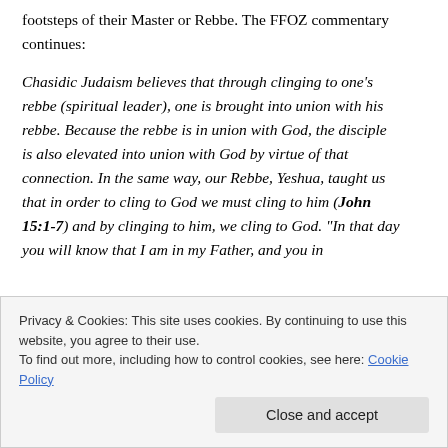footsteps of their Master or Rebbe. The FFOZ commentary continues:
Chasidic Judaism believes that through clinging to one's rebbe (spiritual leader), one is brought into union with his rebbe. Because the rebbe is in union with God, the disciple is also elevated into union with God by virtue of that connection. In the same way, our Rebbe, Yeshua, taught us that in order to cling to God we must cling to him (John 15:1-7) and by clinging to him, we cling to God. “In that day you will know that I am in my Father, and you in
Privacy & Cookies: This site uses cookies. By continuing to use this website, you agree to their use.
To find out more, including how to control cookies, see here: Cookie Policy